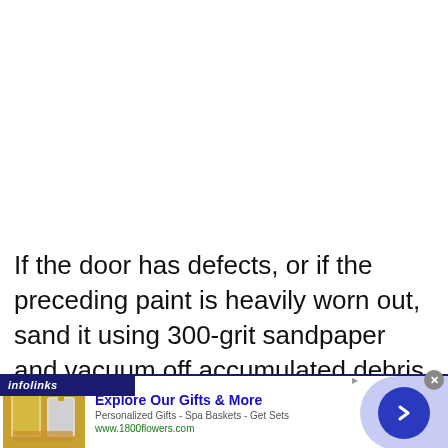If the door has defects, or if the preceding paint is heavily worn out, sand it using 300-grit sandpaper and vacuum off accumulated debris.
[Figure (other): Infolinks advertisement banner for 1800flowers.com showing 'Explore Our Gifts & More – Personalized Gifts – Spa Baskets – Get Sets' with product images and a blue arrow button]